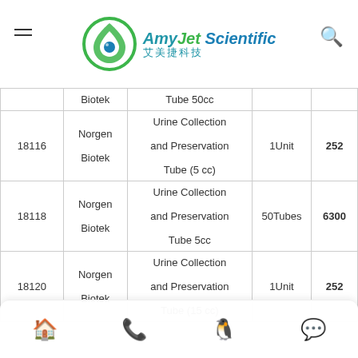AmyJet Scientific 艾美捷科技
| ID | Brand | Product | Unit | Price |
| --- | --- | --- | --- | --- |
|  | Biotek | Tube 50cc |  |  |
| 18116 | Norgen Biotek | Urine Collection and Preservation Tube (5 cc) | 1Unit | 252 |
| 18118 | Norgen Biotek | Urine Collection and Preservation Tube 5cc | 50Tubes | 6300 |
| 18120 | Norgen Biotek | Urine Collection and Preservation Tube (15 cc) | 1Unit | 252 |